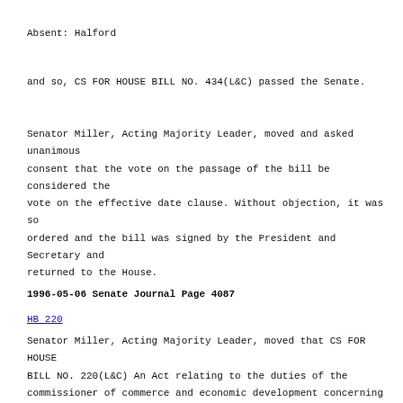Absent: Halford
and so, CS FOR HOUSE BILL NO. 434(L&C) passed the Senate.
Senator Miller, Acting Majority Leader, moved and asked unanimous consent that the vote on the passage of the bill be considered the vote on the effective date clause. Without objection, it was so ordered and the bill was signed by the President and Secretary and returned to the House.
1996-05-06 Senate Journal Page 4087
HB 220
Senator Miller, Acting Majority Leader, moved that CS FOR HOUSE BILL NO. 220(L&C) An Act relating to the duties of the commissioner of commerce and economic development concerning